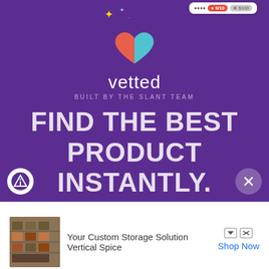[Figure (logo): Vetted app screenshot showing purple background with heart logo (red/teal), brand name 'vetted', tagline 'BUILT BY THE SLANT TEAM', and large text 'FIND THE BEST PRODUCT INSTANTLY.']
Ad
[Figure (photo): Ad image showing custom storage shelving unit with spices - Vertical Spice product]
Your Custom Storage Solution
Vertical Spice
Shop Now